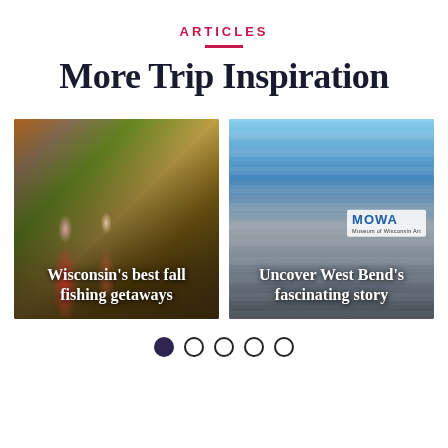ARTICLES
More Trip Inspiration
[Figure (photo): Two people fishing outdoors in autumn foliage setting, with text overlay: Wisconsin's best fall fishing getaways]
[Figure (photo): Museum of Wisconsin Art (MOWA) building exterior against blue sky with clouds, with text overlay: Uncover West Bend's fascinating story]
Wisconsin's best fall fishing getaways
Uncover West Bend's fascinating story